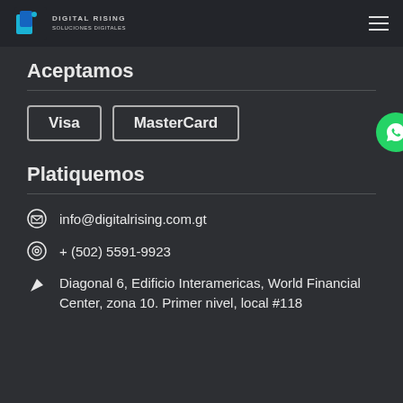Digital Rising logo and navigation menu
Aceptamos
Visa | MasterCard
Platiquemos
info@digitalrising.com.gt
+ (502) 5591-9923
Diagonal 6, Edificio Interamericas, World Financial Center, zona 10. Primer nivel, local #118